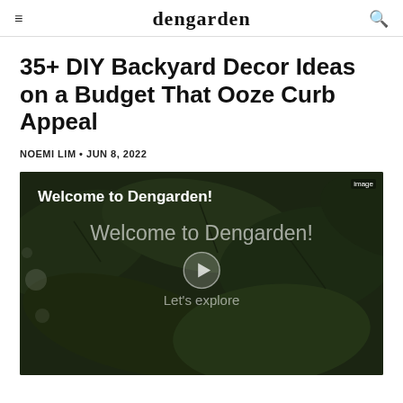dengarden
35+ DIY Backyard Decor Ideas on a Budget That Ooze Curb Appeal
NOEMI LIM • JUN 8, 2022
[Figure (screenshot): Video thumbnail with dark green leaf background. Top-left text: 'Welcome to Dengarden!'. Center overlay text: 'Welcome to Dengarden!' with play button and 'Let's explore' subtitle.]